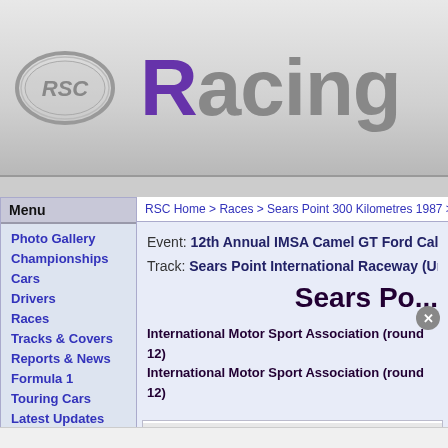[Figure (logo): RSC logo oval emblem in silver/grey on header bar, with 'RSC' text inside oval]
Racing
RSC Home > Races > Sears Point 300 Kilometres 1987 > Ca...
Menu
Photo Gallery
Championships
Cars
Drivers
Races
Tracks & Covers
Reports & News
Formula 1
Touring Cars
Latest Updates
Links
Donations
Event: 12th Annual IMSA Camel GT Ford Califo...
Track: Sears Point International Raceway (United State...
Sears Po...
International Motor Sport Association (round 12)
International Motor Sport Association (round 12)
[Figure (photo): Racing car photo at bottom of content panel]